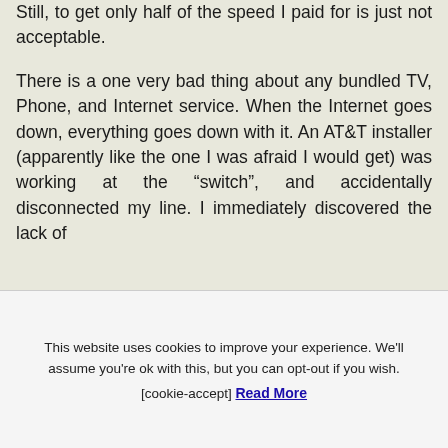Still, to get only half of the speed I paid for is just not acceptable.
There is a one very bad thing about any bundled TV, Phone, and Internet service. When the Internet goes down, everything goes down with it. An AT&T installer (apparently like the one I was afraid I would get) was working at the “switch”, and accidentally disconnected my line. I immediately discovered the lack of
This website uses cookies to improve your experience. We'll assume you're ok with this, but you can opt-out if you wish. [cookie-accept] Read More